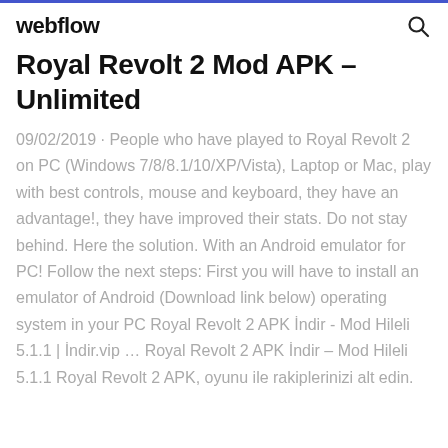webflow
Royal Revolt 2 Mod APK – Unlimited
09/02/2019 · People who have played to Royal Revolt 2 on PC (Windows 7/8/8.1/10/XP/Vista), Laptop or Mac, play with best controls, mouse and keyboard, they have an advantage!, they have improved their stats. Do not stay behind. Here the solution. With an Android emulator for PC! Follow the next steps: First you will have to install an emulator of Android (Download link below) operating system in your PC Royal Revolt 2 APK İndir - Mod Hileli 5.1.1 | İndir.vip … Royal Revolt 2 APK İndir – Mod Hileli 5.1.1 Royal Revolt 2 APK, oyunu ile rakiplerinizi alt edin.